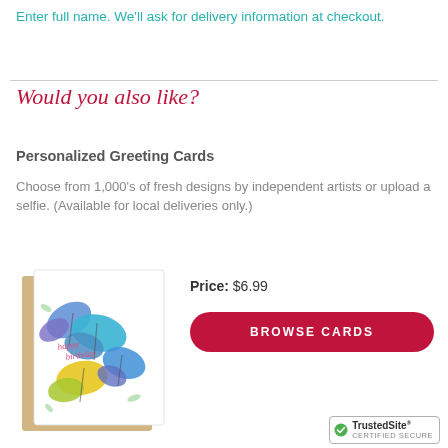Enter full name. We'll ask for delivery information at checkout.
Would you also like?
Personalized Greeting Cards
Choose from 1,000's of fresh designs by independent artists or upload a selfie. (Available for local deliveries only.)
Price: $6.99
[Figure (illustration): Greeting card with colorful butterflies and 'happy birthday' text, shown with a kraft envelope behind it]
BROWSE CARDS
[Figure (logo): TrustedSite CERTIFIED SECURE badge]